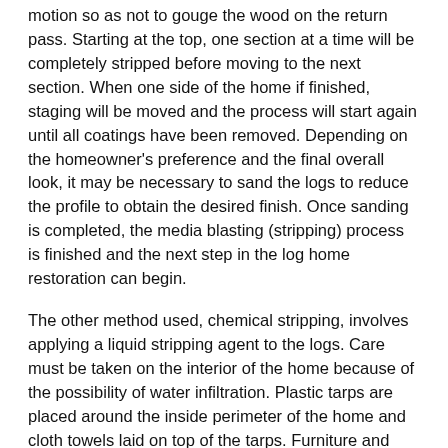motion so as not to gouge the wood on the return pass. Starting at the top, one section at a time will be completely stripped before moving to the next section. When one side of the home if finished, staging will be moved and the process will start again until all coatings have been removed. Depending on the homeowner's preference and the final overall look, it may be necessary to sand the logs to reduce the profile to obtain the desired finish. Once sanding is completed, the media blasting (stripping) process is finished and the next step in the log home restoration can begin.
The other method used, chemical stripping, involves applying a liquid stripping agent to the logs. Care must be taken on the interior of the home because of the possibility of water infiltration. Plastic tarps are placed around the inside perimeter of the home and cloth towels laid on top of the tarps. Furniture and wall hangings are removed and safely stored out of the work space area. Outside of the home all plants, shrubs, deck furniture, and other items are covered and protected from overspray. Porch lamps, ceiling fans, vents, receptacles and other items are covered or removed and stored in a safe location.
At this point the stripping process can begin. After determining a proper mix ratio, the chemical is applied spraying an even coat on